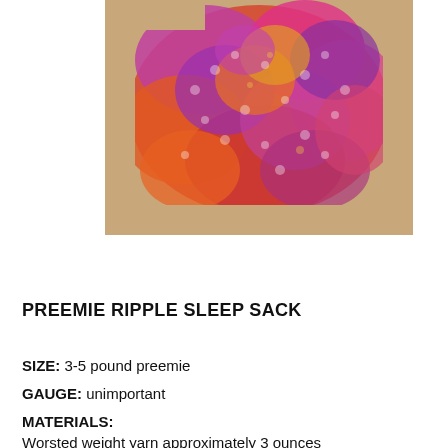[Figure (photo): A colorful crocheted preemie ripple sleep sack in shades of pink, orange, purple, red, and yellow, photographed on a tan/beige background.]
PREEMIE RIPPLE SLEEP SACK
SIZE: 3-5 pound preemie
GAUGE: unimportant
MATERIALS:
Worsted weight yarn approximately 3 ounces